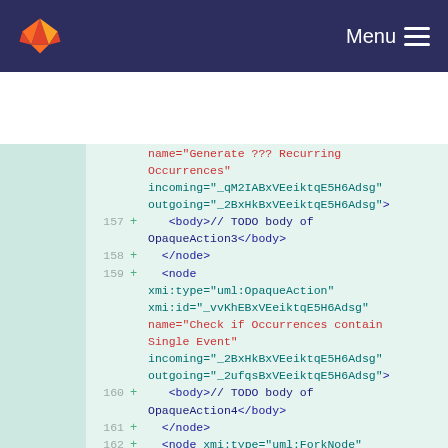GitLab navigation bar with Menu
[Figure (screenshot): GitLab code diff view showing XML UML activity diagram code, lines 157-162, with additions marked by + signs. Code includes OpaqueAction and ForkNode elements with xmi:id and name attributes in monospace font on light green background.]